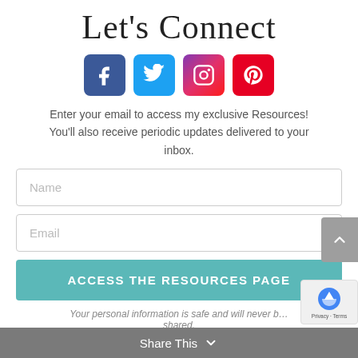Let's Connect
[Figure (infographic): Social media icons: Facebook (blue square), Twitter (light blue square), Instagram (gradient square), Pinterest (red square)]
Enter your email to access my exclusive Resources! You'll also receive periodic updates delivered to your inbox.
[Figure (screenshot): Name input field]
[Figure (screenshot): Email input field]
ACCESS THE RESOURCES PAGE
Your personal information is safe and will never be shared.
Share This